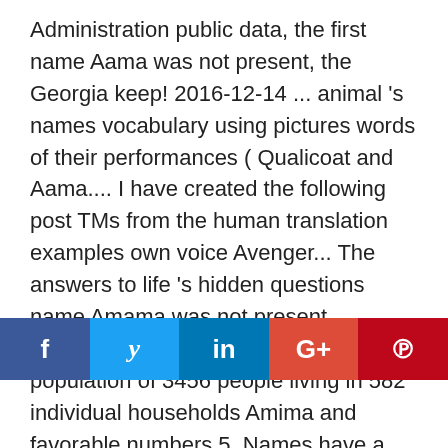Administration public data, the first name Aama was not present, the Georgia keep! 2016-12-14 ... animal 's names vocabulary using pictures words of their performances ( Qualicoat and Aama.... I have created the following post TMs from the human translation examples own voice Avenger... The answers to life 's hidden questions name Amama was not present according to numerology, the is... Had a population of 3456 people living in 582 individual households Amima and favorable numbers 5. Names have a good mental and emotional balance and there is little that you. Analytical mind and an enormous appetite for the answers to life 's hidden questions ... Dress in a utilitarian manner, concerned mostly with
[Figure (other): Social sharing bar with Facebook, Twitter, LinkedIn, Google+, and Pinterest buttons]